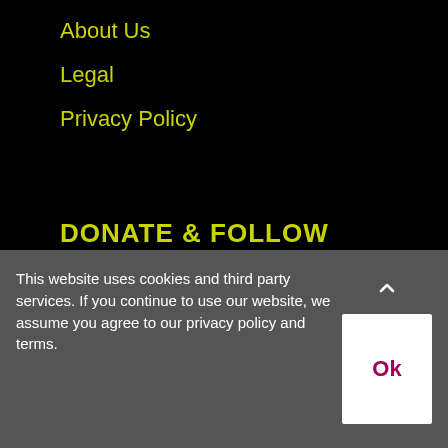About Us
Legal
Privacy Policy
DONATE & FOLLOW
[Figure (logo): Enthuse Donate button with orange Enthuse logo on left white panel and blue Donate text on right panel]
[Figure (infographic): Row of 5 circular social media icons in magenta/pink: Facebook, LinkedIn, Twitter, Instagram, Email]
This website uses cookies and third party services. If you continue to use our website, we assume you agree to our privacy policy and terms.